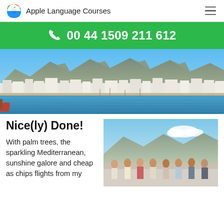Apple Language Courses
00 44 1509 211 612
[Figure (photo): Panoramic view of a Mediterranean coastal town with white buildings, marina with boats, and mountains in the background under a blue sky.]
Nice(ly) Done!
With palm trees, the sparkling Mediterranean, sunshine galore and cheap as chips flights from my
[Figure (photo): Group of people standing together outdoors on a waterfront with mountains and blue sky in the background.]